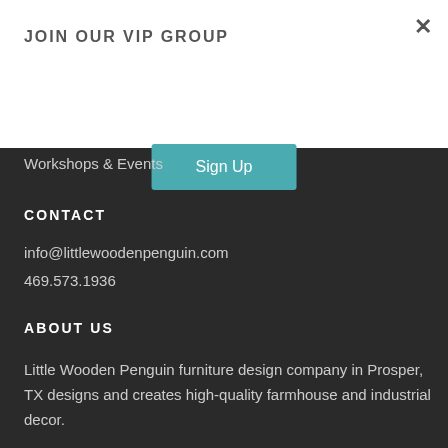JOIN OUR VIP GROUP
Sign Up
Workshops & Events
CONTACT
info@littlewoodenpenguin.com
469.573.1936
ABOUT US
Little Wooden Penguin furniture design company in Prosper, TX designs and creates high-quality farmhouse and industrial decor.